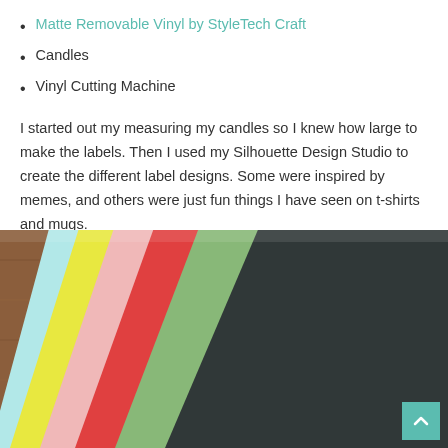Matte Removable Vinyl by StyleTech Craft
Candles
Vinyl Cutting Machine
I started out my measuring my candles so I knew how large to make the labels. Then I used my Silhouette Design Studio to create the different label designs. Some were inspired by memes, and others were just fun things I have seen on t-shirts and mugs.
[Figure (photo): Fan of colorful vinyl sheets (light blue, yellow, pink, red/orange, green, dark gray/black) fanned out on a wooden surface with a cutting mat partially visible, StyleTech logo at bottom.]